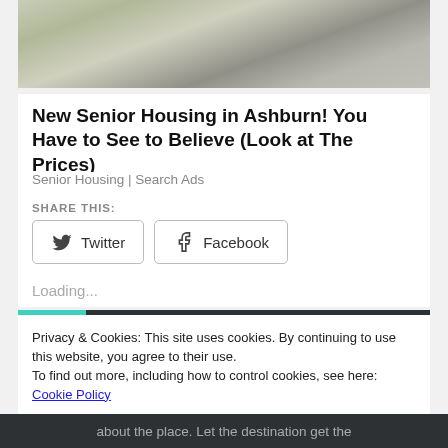[Figure (photo): Outdoor photo showing a sidewalk/driveway area near a building, with grass and paved surfaces visible]
New Senior Housing in Ashburn! You Have to See to Believe (Look at The Prices)
Senior Housing | Search Ads
SHARE THIS:
Twitter  Facebook
Loading...
Privacy & Cookies: This site uses cookies. By continuing to use this website, you agree to their use.
To find out more, including how to control cookies, see here: Cookie Policy
Close and accept
about the place. Let the destination get the